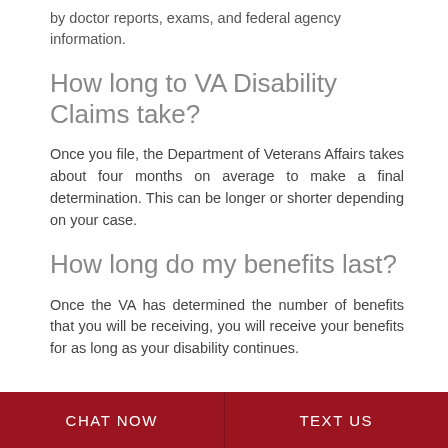by doctor reports, exams, and federal agency information.
How long to VA Disability Claims take?
Once you file, the Department of Veterans Affairs takes about four months on average to make a final determination. This can be longer or shorter depending on your case.
How long do my benefits last?
Once the VA has determined the number of benefits that you will be receiving, you will receive your benefits for as long as your disability continues.
CHAT NOW   TEXT US